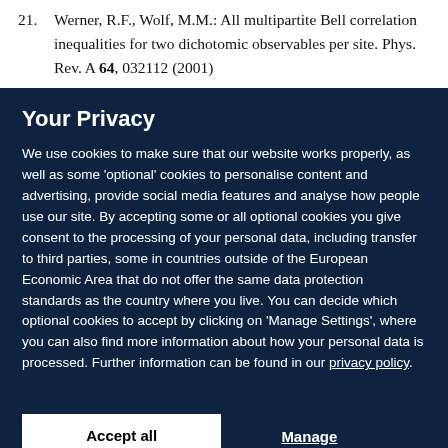21. Werner, R.F., Wolf, M.M.: All multipartite Bell correlation inequalities for two dichotomic observables per site. Phys. Rev. A 64, 032112 (2001)
Your Privacy
We use cookies to make sure that our website works properly, as well as some 'optional' cookies to personalise content and advertising, provide social media features and analyse how people use our site. By accepting some or all optional cookies you give consent to the processing of your personal data, including transfer to third parties, some in countries outside of the European Economic Area that do not offer the same data protection standards as the country where you live. You can decide which optional cookies to accept by clicking on 'Manage Settings', where you can also find more information about how your personal data is processed. Further information can be found in our privacy policy.
Accept all cookies
Manage preferences